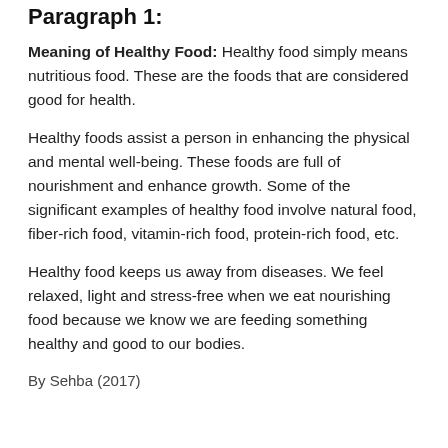Paragraph 1:
Meaning of Healthy Food: Healthy food simply means nutritious food. These are the foods that are considered good for health.
Healthy foods assist a person in enhancing the physical and mental well-being. These foods are full of nourishment and enhance growth. Some of the significant examples of healthy food involve natural food, fiber-rich food, vitamin-rich food, protein-rich food, etc.
Healthy food keeps us away from diseases. We feel relaxed, light and stress-free when we eat nourishing food because we know we are feeding something healthy and good to our bodies.
By Sehba (2017)